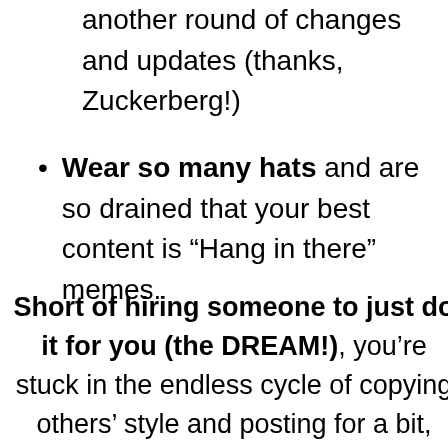another round of changes and updates (thanks, Zuckerberg!)
Wear so many hats and are so drained that your best content is “Hang in there” memes.
Short of hiring someone to just do it for you (the DREAM!), you’re stuck in the endless cycle of copying others’ style and posting for a bit, forgetting, deciding it’s not worth it,